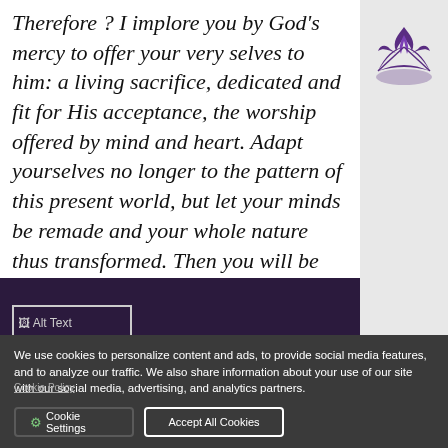Therefore ? I implore you by God's mercy to offer your very selves to him: a living sacrifice, dedicated and fit for His acceptance, the worship offered by mind and heart. Adapt yourselves no longer to the pattern of this present world, but let your minds be remade and your whole nature thus transformed. Then you will be able to discern the will of God, and to know what is good, acceptable, and perfect (Rm 12:1, 2).
[Figure (logo): Seventh-day Adventist Church logo — purple flame/dove over an open book]
[Figure (photo): Alt Text image placeholder in dark purple footer bar]
We use cookies to personalize content and ads, to provide social media features, and to analyze our traffic. We also share information about your use of our site with our social media, advertising, and analytics partners.